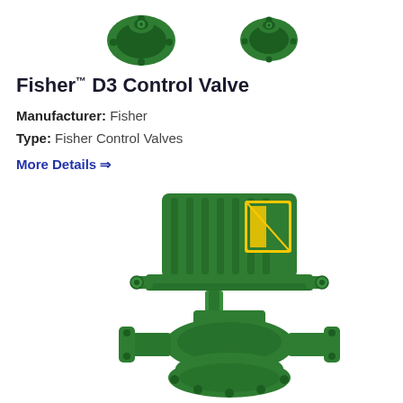[Figure (photo): Two green Fisher D3 control valve top views shown side by side at top of page]
Fisher™ D3 Control Valve
Manufacturer: Fisher
Type: Fisher Control Valves
More Details ⇒
[Figure (photo): Fisher D3 Control Valve with green actuator on top and flanged body, full product photo]